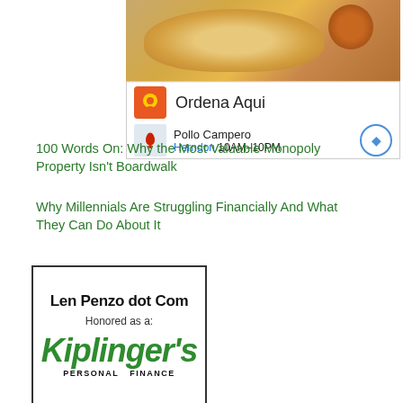[Figure (screenshot): Advertisement for Pollo Campero showing fried chicken nuggets with dipping sauce, logo with 'Ordena Aqui' text, map thumbnail showing Herndon location with hours 10AM-10PM, and navigation button]
100 Words On: Why the Most Valuable Monopoly Property Isn't Boardwalk
Why Millennials Are Struggling Financially And What They Can Do About It
[Figure (logo): Len Penzo dot Com badge honored as a Kiplinger's Personal Finance site, shown in a bordered box with bold black title text and green Kiplinger's italic logo]